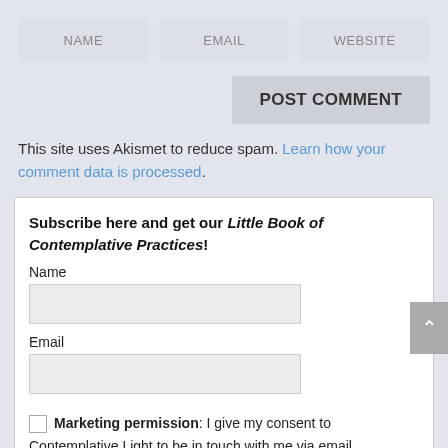NAME
EMAIL
WEBSITE
POST COMMENT
This site uses Akismet to reduce spam. Learn how your comment data is processed.
Subscribe here and get our Little Book of Contemplative Practices!
Name
Email
Marketing permission: I give my consent to Contemplative Light to be in touch with me via email